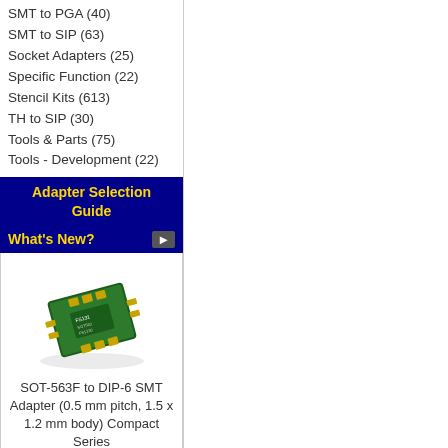SMT to PGA (40)
SMT to SIP (63)
Socket Adapters (25)
Specific Function (22)
Stencil Kits (613)
TH to SIP (30)
Tools & Parts (75)
Tools - Development (22)
Adapter Selection Guide
What's New?
[Figure (photo): Green PCB SMT adapter with gold pins - SOT-563F to DIP-6 SMT Adapter]
SOT-563F to DIP-6 SMT Adapter (0.5 mm pitch, 1.5 x 1.2 mm body) Compact Series $7.19
Information
Contact Us
Distributors
Shipping & Returns
Privacy Notice
Conditions of Use
Legal